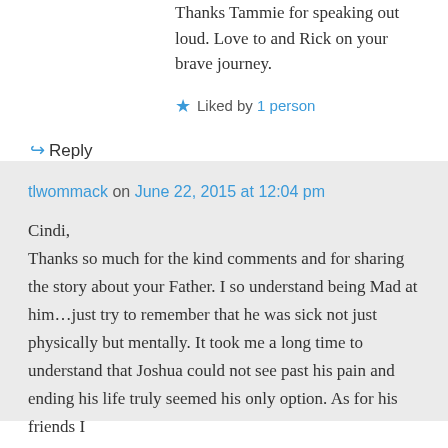Thanks Tammie for speaking out loud. Love to and Rick on your brave journey.
★ Liked by 1 person
↪ Reply
tlwommack on June 22, 2015 at 12:04 pm
Cindi,
Thanks so much for the kind comments and for sharing the story about your Father. I so understand being Mad at him…just try to remember that he was sick not just physically but mentally. It took me a long time to understand that Joshua could not see past his pain and ending his life truly seemed his only option. As for his friends I